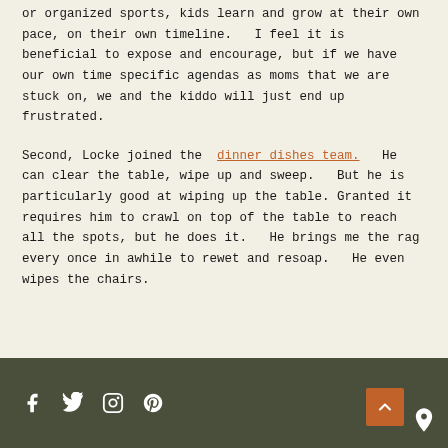or organized sports, kids learn and grow at their own pace, on their own timeline.   I feel it is beneficial to expose and encourage, but if we have our own time specific agendas as moms that we are stuck on, we and the kiddo will just end up frustrated.
Second, Locke joined the dinner dishes team.   He can clear the table, wipe up and sweep.   But he is particularly good at wiping up the table. Granted it requires him to crawl on top of the table to reach all the spots, but he does it.   He brings me the rag every once in awhile to rewet and resoap.   He even wipes the chairs.
Social media icons: Facebook, Twitter, Instagram, Pinterest. Back to top button. Map pin icon.